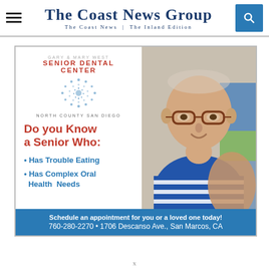The Coast News Group | The Coast News | The Inland Edition
[Figure (photo): Advertisement for Gary & Mary West Senior Dental Center, North County San Diego. Left side shows logo, dot graphic, and text: 'Do you Know a Senior Who: • Has Trouble Eating • Has Complex Oral Health Needs'. Right side shows photo of elderly smiling woman with glasses. Bottom blue banner: 'Schedule an appointment for you or a loved one today! 760-280-2270 • 1706 Descanso Ave., San Marcos, CA']